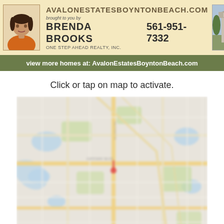[Figure (infographic): Real estate agent banner with photo of Brenda Brooks, site name AvalonEstatesBoyntonBeach.com, phone 561-951-7332, One Step Ahead Realty Inc., and Avalon Estates entrance photo]
view more homes at: AvalonEstatesBoyntonBeach.com
Click or tap on map to activate.
[Figure (map): Blurred street map of Boynton Beach area showing roads, green spaces, and water features]